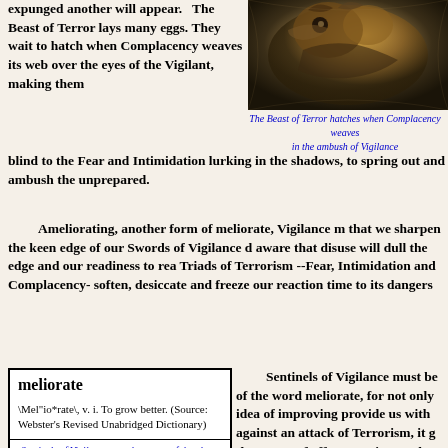expunged another will appear.   The Beast of Terror lays many eggs. They wait to hatch when Complacency weaves its web over the eyes of the Vigilant, making them blind to the Fear and Intimidation lurking in the shadows, to spring out and ambush the unprepared.
[Figure (photo): Illustration or photo of a beast/creature related to Terror, with dark tones of gold, black and brown]
The Beast of Terror hatches when Complacency weaves in the ambush of Vigilance
Ameliorating, another form of meliorate, Vigilance m... that we sharpen the keen edge of our Swords of Vigilance d... aware that disuse will dull the edge and our readiness to rea... Triads of Terrorism --Fear, Intimidation and Complacency-... soften, desiccate and freeze our reaction time to its dangers...
| meliorate |
| \Mel"io*rate\, v. i. To grow better. (Source: Webster's Revised Unabridged Dictionary) |
| Sentinels of Vigilance must be aware of the above word |
Sentinels of Vigilance must be... of the word meliorate, for not only... idea of improving provide us with... against an attack of Terrorism, it g... the power of offense against such a... If we act with Courage, Conv... and take Right Actions that benefi... Children's Children's Children, th... are improving our duty and obliga... guardians of future generations. We are letting the Beast of T...